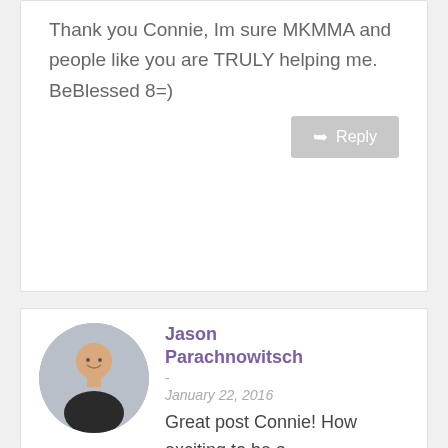Thank you Connie, Im sure MKMMA and people like you are TRULY helping me. BeBlessed 8=)
Reply
Jason Parachnowitsch
January 22, 2016
Great post Connie! How exciting to be a